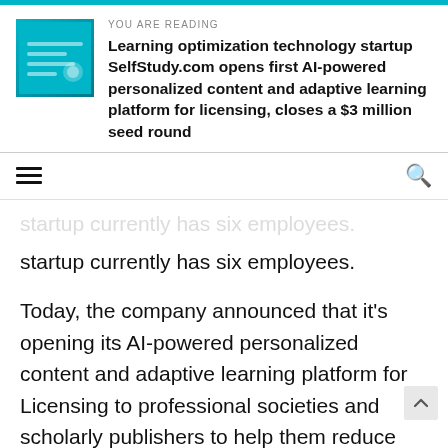YOU ARE READING
Learning optimization technology startup SelfStudy.com opens first AI-powered personalized content and adaptive learning platform for licensing, closes a $3 million seed round
startup currently has six employees.
Today, the company announced that it's opening its AI-powered personalized content and adaptive learning platform for Licensing to professional societies and scholarly publishers to help them reduce costs and increase speed-to-market of individualized content discovery, and learning and